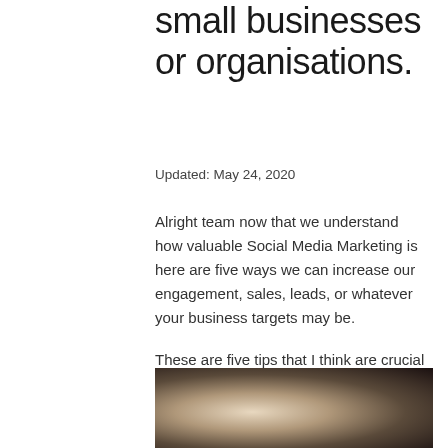small businesses or organisations.
Updated: May 24, 2020
Alright team now that we understand how valuable Social Media Marketing is here are five ways we can increase our engagement, sales, leads, or whatever your business targets may be.
These are five tips that I think are crucial to building a successful online campaign.
[Figure (photo): Dark blurred image, possibly a person or scene, with warm brown tones on the right side and a lighter glow on the left.]